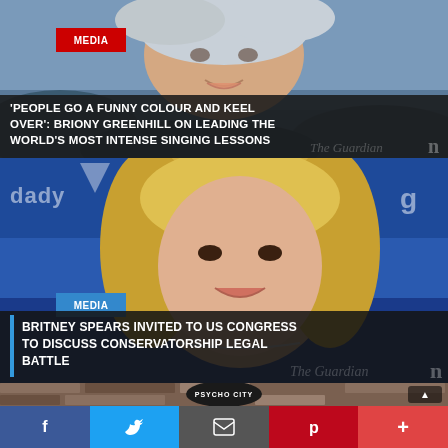[Figure (photo): Article 1: Photo of a young woman with blonde hair smiling, outdoors rocky background. Red MEDIA badge top-left.]
'PEOPLE GO A FUNNY COLOUR AND KEEL OVER': BRIONY GREENHILL ON LEADING THE WORLD'S MOST INTENSE SINGING LESSONS
[Figure (photo): Article 2: Photo of Britney Spears at an event with blue GoDaddy branding in the background. Blue MEDIA badge.]
BRITNEY SPEARS INVITED TO US CONGRESS TO DISCUSS CONSERVATORSHIP LEGAL BATTLE
[Figure (photo): Third article strip: Weathered brick wall with a 'PSYCHO CITY' cap/badge visible. Scroll-up button on right.]
Facebook  Twitter  Email  Pinterest  More